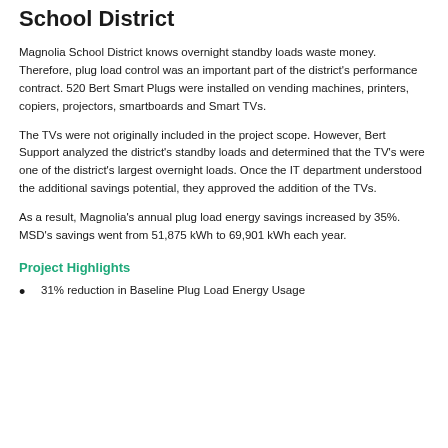School District
Magnolia School District knows overnight standby loads waste money. Therefore, plug load control was an important part of the district's performance contract. 520 Bert Smart Plugs were installed on vending machines, printers, copiers, projectors, smartboards and Smart TVs.
The TVs were not originally included in the project scope. However, Bert Support analyzed the district's standby loads and determined that the TV's were one of the district's largest overnight loads. Once the IT department understood the additional savings potential, they approved the addition of the TVs.
As a result, Magnolia's annual plug load energy savings increased by 35%.  MSD's savings went from 51,875 kWh to 69,901 kWh each year.
Project Highlights
31% reduction in Baseline Plug Load Energy Usage